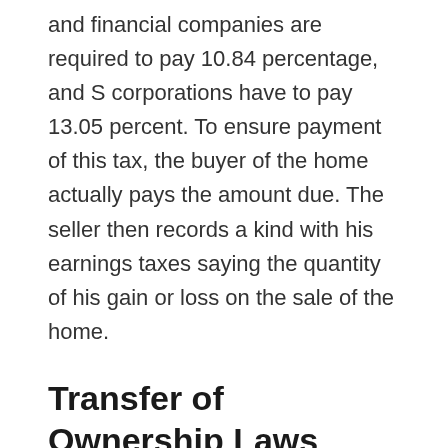and financial companies are required to pay 10.84 percentage, and S corporations have to pay 13.05 percent. To ensure payment of this tax, the buyer of the home actually pays the amount due. The seller then records a kind with his earnings taxes saying the quantity of his gain or loss on the sale of the home.
Transfer of Ownership Laws
When property changes hands, many legislation apply that determine if the owners of their house are required to pay tax in their